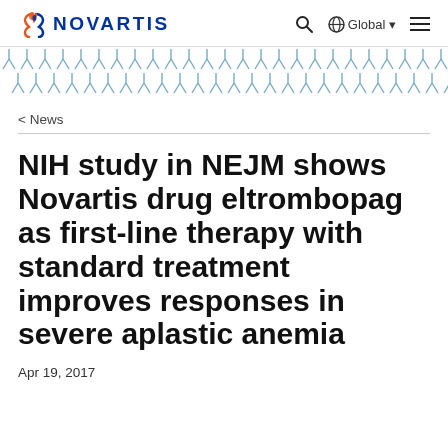NOVARTIS
[Figure (illustration): Decorative geometric pattern band with blue/grey diamond and Y shapes repeated horizontally]
< News
NIH study in NEJM shows Novartis drug eltrombopag as first-line therapy with standard treatment improves responses in severe aplastic anemia
Apr 19, 2017